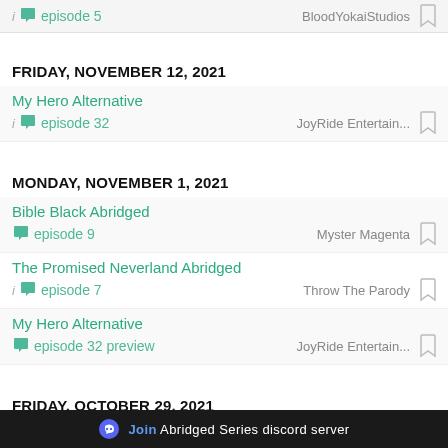episode 5 | BloodYokaiStudios
FRIDAY, NOVEMBER 12, 2021
My Hero Alternative
episode 32 | JoyRide Entertain...
MONDAY, NOVEMBER 1, 2021
Bible Black Abridged
episode 9 | Myster Magenta
The Promised Neverland Abridged
episode 7 | Throw The Parody
My Hero Alternative
episode 32 preview | JoyRide Entertain...
FRIDAY, OCTOBER 29, 2021
The Seven Deadly Sins Abridged Parody One...
Join Abridged Series discord server